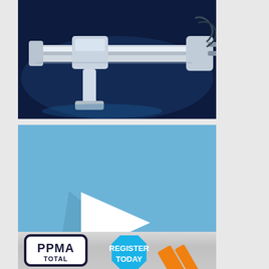[Figure (photo): Industrial linear actuator / robotic arm component on dark blue background]
[Figure (infographic): Blue advertisement: HEAR HOW DIGITAL TRANSFORMATION IS DRIVING THE ROAD TO PRODUCTION. Large white play button triangle with shadow. Editor's interview with Sachin Mathur, director of software and control at Rockwell Automation]
[Figure (infographic): PPMA Total show advertisement with Register Today blue octagon badge and orange diagonal graphic elements]